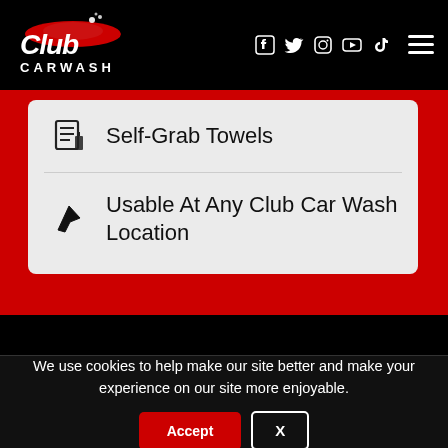[Figure (logo): Club Carwash logo with stylized text and car graphic on black background]
[Figure (infographic): Social media icons: Facebook, Twitter, Instagram, YouTube, TikTok in white on black header]
Self-Grab Towels
Usable At Any Club Car Wash Location
We use cookies to help make our site better and make your experience on our site more enjoyable.
Accept
X